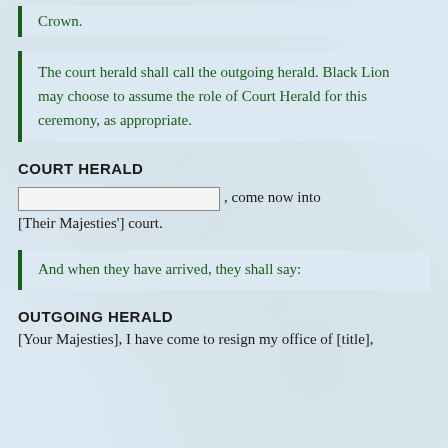Crown.
The court herald shall call the outgoing herald. Black Lion may choose to assume the role of Court Herald for this ceremony, as appropriate.
COURT HERALD
[fill-in box], come now into [Their Majesties'] court.
And when they have arrived, they shall say:
OUTGOING HERALD
[Your Majesties], I have come to resign my office of [title],